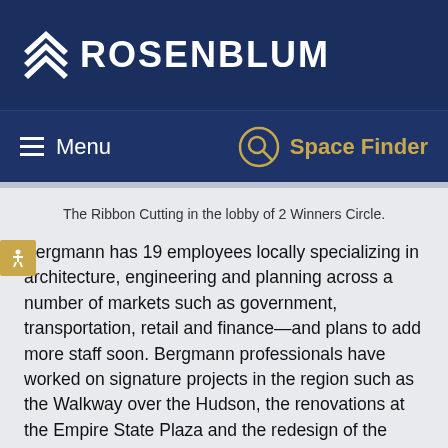[Figure (logo): Rosenblum logo with chevron/arrow icon in white on dark navy background, with text ROSENBLUM in white bold letters]
≡ Menu   Space Finder
The Ribbon Cutting in the lobby of 2 Winners Circle.
Bergmann has 19 employees locally specializing in architecture, engineering and planning across a number of markets such as government, transportation, retail and finance—and plans to add more staff soon. Bergmann professionals have worked on signature projects in the region such as the Walkway over the Hudson, the renovations at the Empire State Plaza and the redesign of the SUNY Albany Student Center. Recently, the firm received a three-year term contract with the State of New York Office of Government Services for architecture services, among other items.